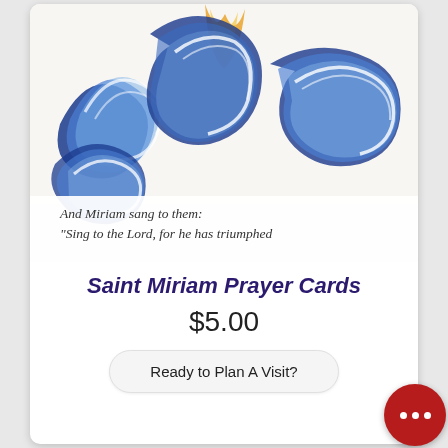[Figure (illustration): Watercolor illustration showing swirling blue and white waves with gold accent, resembling a stylized cross or triquetra shape. Below the illustration is italic script text reading: 'And Miriam sang to them: "Sing to the Lord, for he has triumphed']
Saint Miriam Prayer Cards
$5.00
Ready to Plan A Visit?